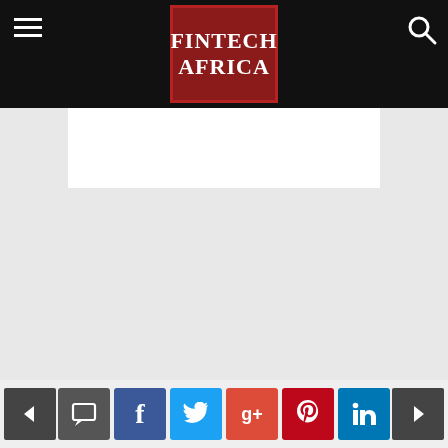FINTECH AFRICA
[Figure (screenshot): FintechAfrica website screenshot showing navigation bar with hamburger menu, FINTECH AFRICA logo in red box, search icon, white content area, gray main body, and social sharing bottom bar with previous/next navigation and social media buttons (comment, Facebook, Twitter, Google+, Pinterest, LinkedIn)]